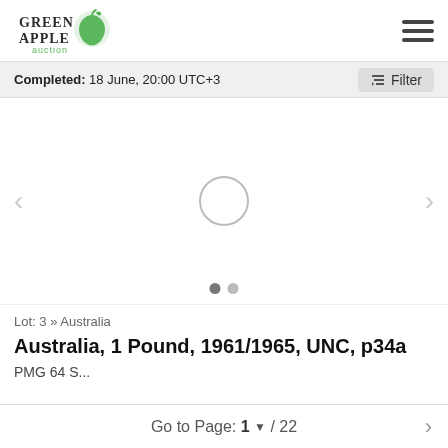[Figure (logo): Green Apple Auction logo with green apple icon and text]
Completed: 18 June, 20:00 UTC+3
[Figure (screenshot): Image carousel area with loading circle indicator and navigation arrows, two pagination dots at bottom]
Lot: 3 » Australia
Australia, 1 Pound, 1961/1965, UNC, p34a
PMG 64 S...
Go to Page: 1 ▼ / 22 >